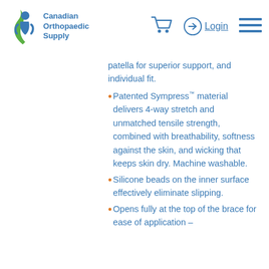[Figure (logo): Canadian Orthopaedic Supply logo with blue and green figure icon and company name]
patella for superior support, and individual fit.
Patented Sympress™ material delivers 4-way stretch and unmatched tensile strength, combined with breathability, softness against the skin, and wicking that keeps skin dry. Machine washable.
Silicone beads on the inner surface effectively eliminate slipping.
Opens fully at the top of the brace for ease of application –